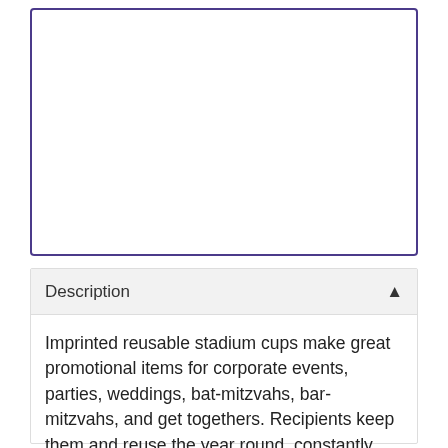[Figure (other): Empty bordered box with purple/dark blue border, likely an image placeholder]
Description
Imprinted reusable stadium cups make great promotional items for corporate events, parties, weddings, bat-mitzvahs, bar-mitzvahs, and get togethers. Recipients keep them and reuse the year round, constantly being reminded of the great time they had at the event.
Schools and youth organizations use them as fund raisers at football, basketball and baseball games, or at any event.